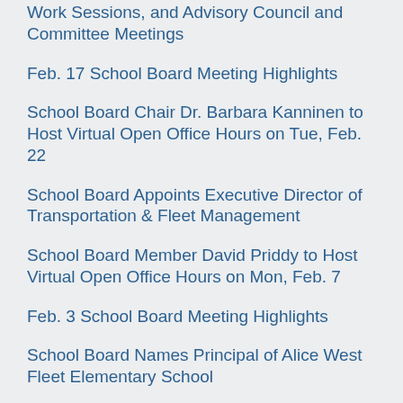Work Sessions, and Advisory Council and Committee Meetings
Feb. 17 School Board Meeting Highlights
School Board Chair Dr. Barbara Kanninen to Host Virtual Open Office Hours on Tue, Feb. 22
School Board Appoints Executive Director of Transportation & Fleet Management
School Board Member David Priddy to Host Virtual Open Office Hours on Mon, Feb. 7
Feb. 3 School Board Meeting Highlights
School Board Names Principal of Alice West Fleet Elementary School